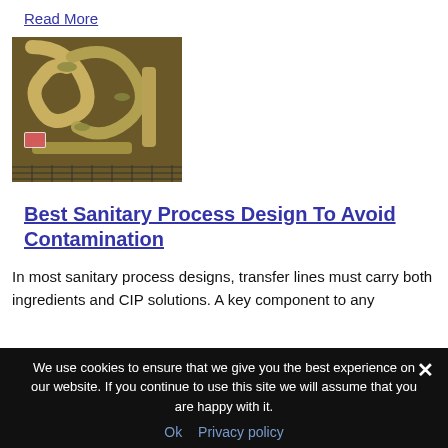Read More
[Figure (photo): Industrial sanitary process equipment - metallic pipes, tubes and fittings in a complex arrangement]
Best Sanitary Process Design To Avoid Contamination
In most sanitary process designs, transfer lines must carry both ingredients and CIP solutions. A key component to any
We use cookies to ensure that we give you the best experience on our website. If you continue to use this site we will assume that you are happy with it.
Ok   Privacy policy